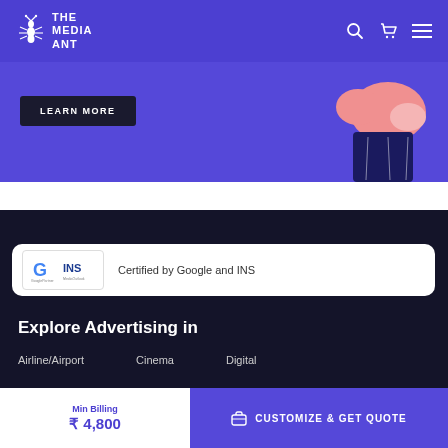THE MEDIA ANT
[Figure (screenshot): Hero banner section with purple background showing a partial illustration of a person and a 'LEARN MORE' button]
Certified by Google and INS
Explore Advertising in
Airline/Airport
Cinema
Digital
Min Billing ₹ 4,800
CUSTOMIZE & GET QUOTE